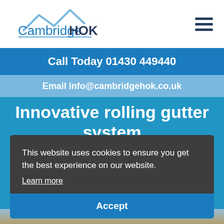[Figure (logo): CambridgeHOK logo with roof/house outline above text, light blue color]
Call Today 01430 449440
Email info@cambridgehok.co.uk
Innovative rolling gutter system
READ PROJECT >
This website uses cookies to ensure you get the best experience on our website.
Learn more
Accept